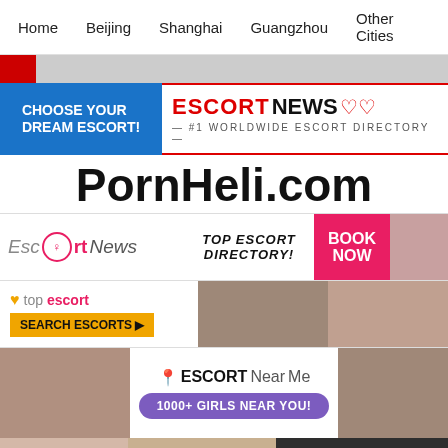Home   Beijing   Shanghai   Guangzhou   Other Cities
[Figure (photo): Partial photo strip at top]
[Figure (infographic): EscortNews banner: CHOOSE YOUR DREAM ESCORT! / ESCORT NEWS #1 WORLDWIDE ESCORT DIRECTORY]
PornHeli.com
[Figure (infographic): EscortNews banner 2: EscortNews logo, TOP ESCORT DIRECTORY!, BOOK NOW]
[Figure (infographic): topescort banner: SEARCH ESCORTS with arrow button, escort photos]
[Figure (infographic): Bottom row: escort photos, ESCORTNearMe 1000+ GIRLS NEAR YOU!, escort photo]
[Figure (infographic): Last row: escort photos, Sexjobs. Escorts in Poland]